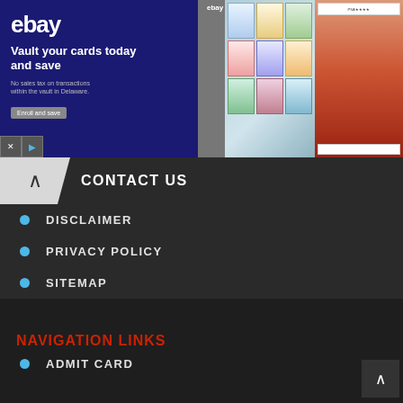[Figure (screenshot): eBay advertisement banner: Vault your cards today and save. No sales tax on transactions within the vault in Delaware. Enroll and save. Shows trading cards images on right side.]
CONTACT US
DISCLAIMER
PRIVACY POLICY
SITEMAP
NAVIGATION LINKS
ADMIT CARD
ANSWER KEYS
EXAM RESULTS
JOBS
PREVIOUS PAPERS